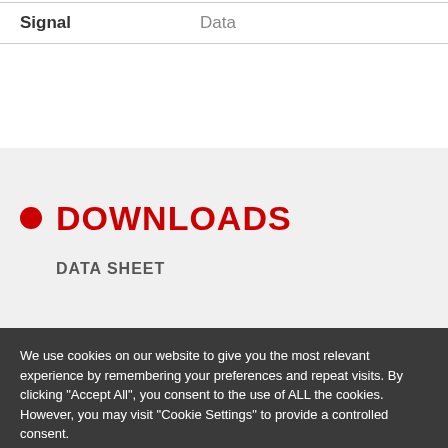| Signal | Data |
| --- | --- |
DOWNLOADS
DATA SHEET
We use cookies on our website to give you the most relevant experience by remembering your preferences and repeat visits. By clicking "Accept All", you consent to the use of ALL the cookies. However, you may visit "Cookie Settings" to provide a controlled consent.
Cookie Settings | Accept All | Reject All